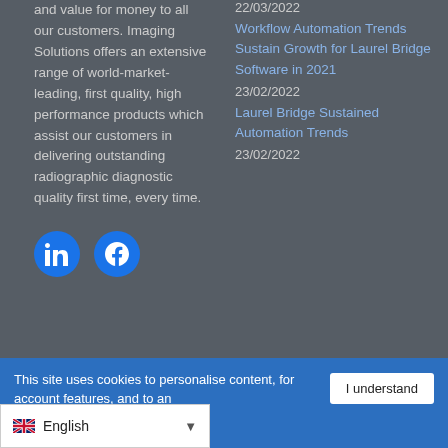and value for money to all our customers. Imaging Solutions offers an extensive range of world-market-leading, first quality, high performance products which assist our customers in delivering outstanding radiographic diagnostic quality first time, every time.
22/03/2022
Workflow Automation Trends Sustain Growth for Laurel Bridge Software in 2021
23/02/2022
Laurel Bridge Sustained Automation Trends
23/02/2022
[Figure (other): LinkedIn and Facebook social media icon buttons (blue circles with white icons)]
This site uses cookies to personalise content, for account features, and to an...
I understand
English